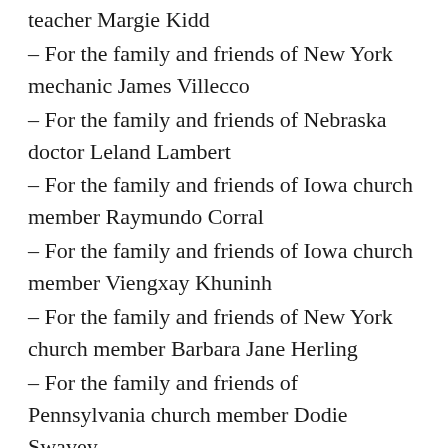teacher Margie Kidd
– For the family and friends of New York mechanic James Villecco
– For the family and friends of Nebraska doctor Leland Lambert
– For the family and friends of Iowa church member Raymundo Corral
– For the family and friends of Iowa church member Viengxay Khuninh
– For the family and friends of New York church member Barbara Jane Herling
– For the family and friends of Pennsylvania church member Dodie Swavey
– For the family and friends of Greek bishop